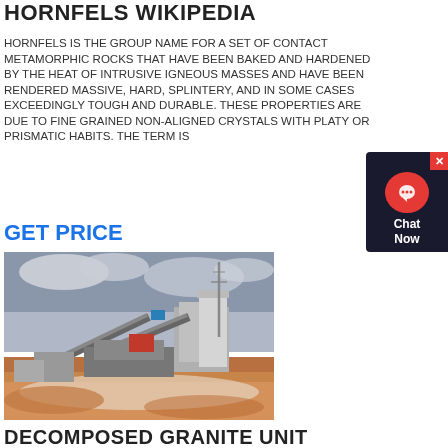HORNFELS WIKIPEDIA
HORNFELS IS THE GROUP NAME FOR A SET OF CONTACT METAMORPHIC ROCKS THAT HAVE BEEN BAKED AND HARDENED BY THE HEAT OF INTRUSIVE IGNEOUS MASSES AND HAVE BEEN RENDERED MASSIVE, HARD, SPLINTERY, AND IN SOME CASES EXCEEDINGLY TOUGH AND DURABLE. THESE PROPERTIES ARE DUE TO FINE GRAINED NON-ALIGNED CRYSTALS WITH PLATY OR PRISMATIC HABITS. THE TERM IS
GET PRICE
[Figure (photo): Industrial quarry or mining equipment — a stone crushing plant with machinery, conveyor belts, a tall mast/tower, and a concrete silo structure, set against a cloudy sky with reddish-brown dirt in the foreground.]
DECOMPOSED GRANITE UNIT